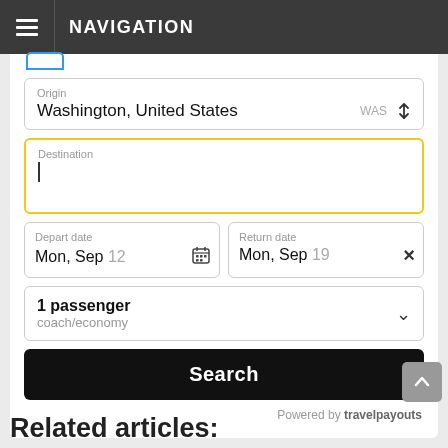NAVIGATION
[Figure (screenshot): Flight search widget with Origin field showing 'Washington, United States / WAS', an active Destination input field with yellow border, Depart date 'Mon, Sep 12', Return date 'Mon, Sep 19', '1 passenger coach/economy' dropdown, a black Search button, and 'Powered by travelpayouts' footer text.]
Related articles: